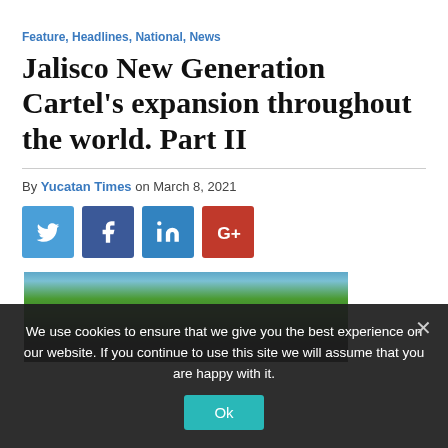Feature, Headlines, National, News
Jalisco New Generation Cartel's expansion throughout the world. Part II
By Yucatan Times on March 8, 2021
[Figure (infographic): Social sharing buttons: Twitter (blue), Facebook (dark blue), LinkedIn (blue), Google+ (red)]
[Figure (photo): Landscape photo of hills with trees and fence posts, partially visible]
We use cookies to ensure that we give you the best experience on our website. If you continue to use this site we will assume that you are happy with it.